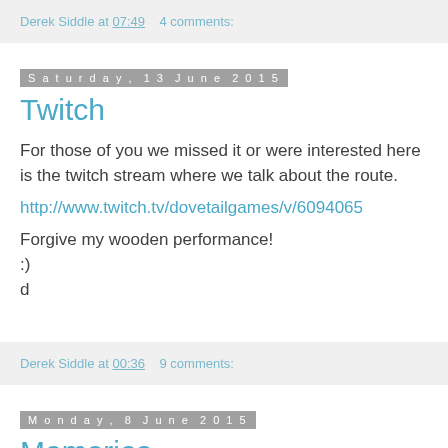Derek Siddle at 07:49    4 comments:
Saturday, 13 June 2015
Twitch
For those of you we missed it or were interested here is the twitch stream where we talk about the route.
http://www.twitch.tv/dovetailgames/v/6094065
Forgive my wooden performance!
:)
d
Derek Siddle at 00:36    9 comments:
Monday, 8 June 2015
Memories